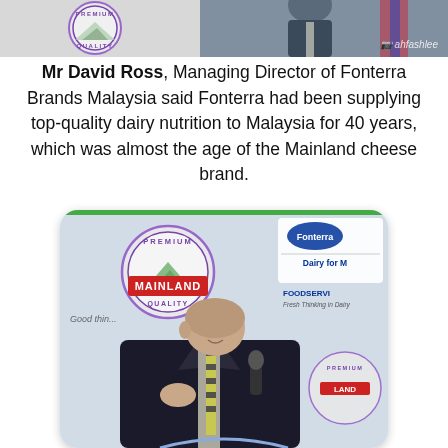[Figure (photo): Top portion of a photo showing a person in formal attire with a Mainland Premium Quality cheese brand logo/backdrop visible, with a watermark '@ahfashlee' in the top right corner]
Mr David Ross, Managing Director of Fonterra Brands Malaysia said Fonterra had been supplying top-quality dairy nutrition to Malaysia for 40 years, which was almost the age of the Mainland cheese brand.
[Figure (photo): Photo of a bald man in a dark suit and striped tie speaking into a microphone at an event. Behind him is a branded backdrop showing the Mainland Premium Quality logo and Fonterra 'Dairy for Life' and 'Foodservice' branding.]